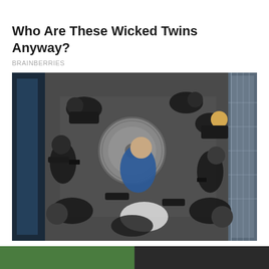Who Are These Wicked Twins Anyway?
BRAINBERRIES
[Figure (photo): Overhead/top-down view of a fight scene from a movie, showing multiple people in black tactical gear surrounding and restraining a person, viewed from above in what appears to be an elevator or tight corridor.]
The Best Close-Quarters Fights In Cinema History
BRAINBERRIES
[Figure (photo): Partial bottom strip showing two thumbnail images — a green one on the left and a dark one on the right.]